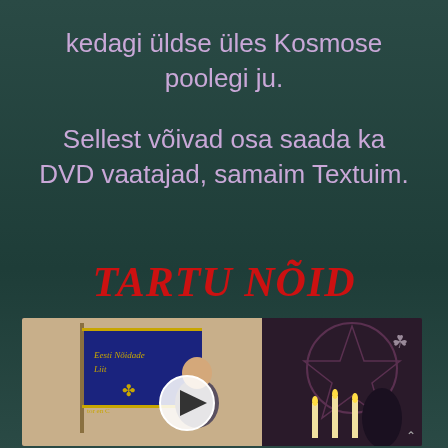kedagi üldse üles Kosmose poolegi ju.
Sellest võivad osa saada ka DVD vaatajad, samaim Textuim.
TARTU NÕID
[Figure (screenshot): Video thumbnail showing a man speaking at a podium with a dark flag bearing an organization name in the background, and a pentagram symbol on the right side with candles. A white play button circle is overlaid in the center.]